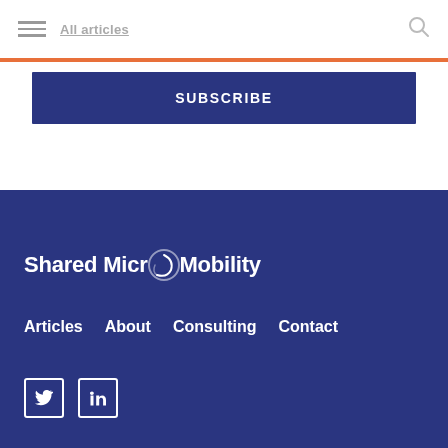All articles
SUBSCRIBE
[Figure (logo): Shared Micro Mobility logo with circular arrow graphic in white text on dark blue background]
Articles
About
Consulting
Contact
[Figure (other): Twitter social media icon in white on dark blue background with white border]
[Figure (other): LinkedIn social media icon in white on dark blue background with white border]